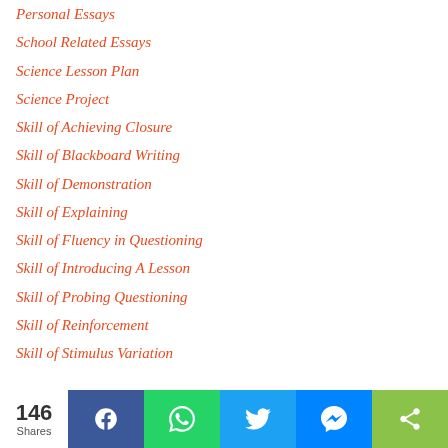Personal Essays
School Related Essays
Science Lesson Plan
Science Project
Skill of Achieving Closure
Skill of Blackboard Writing
Skill of Demonstration
Skill of Explaining
Skill of Fluency in Questioning
Skill of Introducing A Lesson
Skill of Probing Questioning
Skill of Reinforcement
Skill of Stimulus Variation
146 Shares | Facebook | WhatsApp | Twitter | Messenger | Share